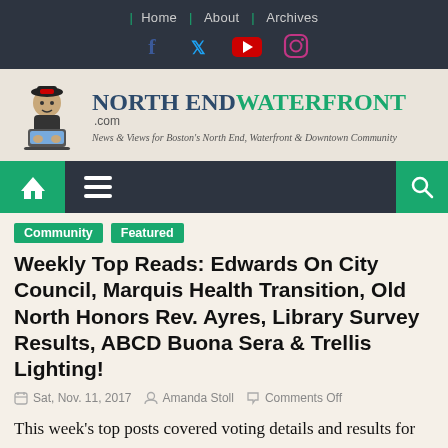Home | About | Archives
[Figure (logo): North End Waterfront logo with pirate at computer and site name]
Community  Featured
Weekly Top Reads: Edwards On City Council, Marquis Health Transition, Old North Honors Rev. Ayres, Library Survey Results, ABCD Buona Sera & Trellis Lighting!
Sat, Nov. 11, 2017   Amanda Stoll   Comments Off
This week's top posts covered voting details and results for Boston's municipal election on November 7, but that's not the only notable news from the